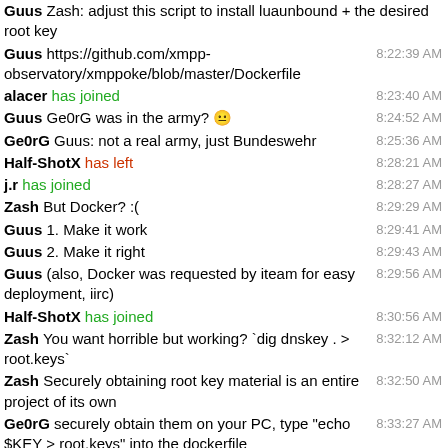Guus Zash: adjust this script to install luaunbound + the desired root key
Guus https://github.com/xmpp-observatory/xmppoke/blob/master/Dockerfile
alacer has joined
Guus Ge0rG was in the army? 😐
Ge0rG Guus: not a real army, just Bundeswehr
Half-ShotX has left
j.r has joined
Zash But Docker? :(
Guus 1. Make it work
Guus 2. Make it right
Guus (also, Docker was requested by iteam for easy deployment, iirc)
Half-ShotX has joined
Zash You want horrible but working? `dig dnskey . > root.keys`
Zash Securely obtaining root key material is an entire project of its own
Ge0rG securely obtain them on your PC, type "echo $KEY > root.keys" into the dockerfile
Guus guys, I do not know what this all means. Can one of you please do a PR with the required changes?
waqas has left
Zash add dns root data to the apt line